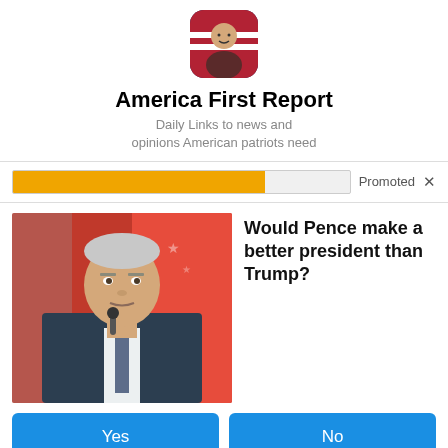[Figure (photo): Profile photo of a person with rounded square crop, America First Report page logo]
America First Report
Daily Links to news and opinions American patriots need
Promoted X
[Figure (photo): Photo of Mike Pence in a blue suit speaking at a microphone in front of a red background]
Would Pence make a better president than Trump?
Yes
No
Not sure
43,208 Votes  •  Sponsored Ad